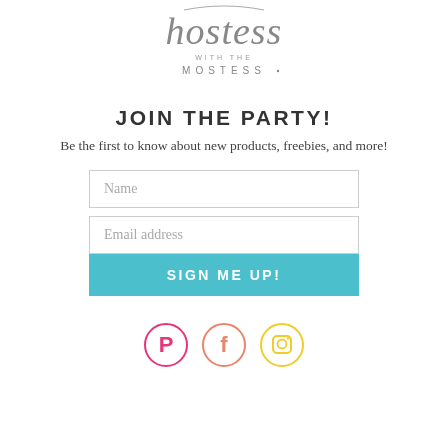[Figure (logo): Hostess with the Mostess script logo in gray]
JOIN THE PARTY!
Be the first to know about new products, freebies, and more!
[Figure (infographic): Email signup form with Name field, Email address field, and SIGN ME UP! button in teal]
[Figure (infographic): Social media icons: Pinterest (pink), Facebook (salmon/pink), Instagram (yellow)]